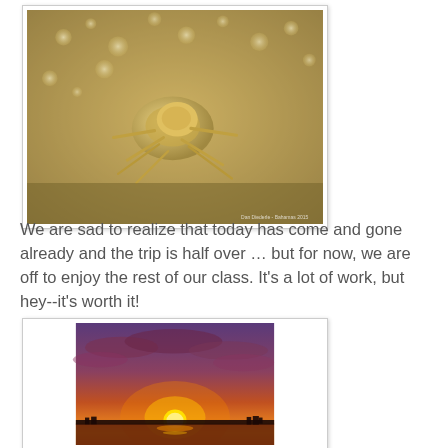[Figure (photo): Close-up macro photograph of a small crustacean or sea creature among sand and water bubbles, yellowish-tan tones, with a watermark reading 'Dan Diederle - Bahamas 2015' in the bottom right corner.]
We are sad to realize that today has come and gone already and the trip is half over … but for now, we are off to enjoy the rest of our class. It's a lot of work, but hey--it's worth it!
[Figure (photo): Photograph of a sunset over water with a glowing orange and red sky, silhouetted tree line along the horizon, dramatic cloud formations.]